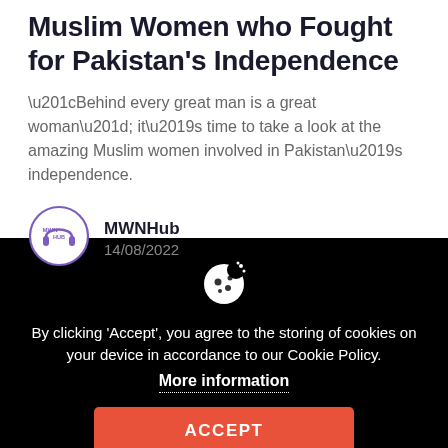Muslim Women who Fought for Pakistan's Independence
“Behind every great man is a great woman”; it’s time to take a look at the amazing Muslim women involved in Pakistan’s independence.
MWNHub
14/08/2022
[Figure (logo): MWNHub circular logo with headphones icon and purple border]
By clicking ‘Accept’, you agree to the storing of cookies on your device in accordance to our Cookie Policy.
More information
ACCEPT